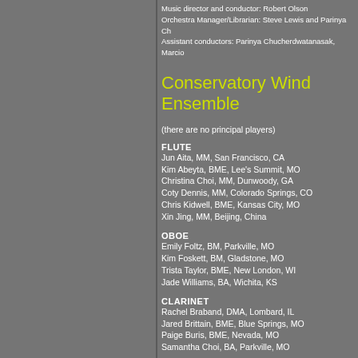Music director and conductor: Robert Olson
Orchestra Manager/Librarian: Steve Lewis and Parinya Ch
Assistant conductors: Parinya Chucherdwatanasak, Marcio
Conservatory Wind Ensemble
(there are no principal players)
FLUTE
Jun Aita, MM, San Francisco, CA
Kim Abeyta, BME, Lee's Summit, MO
Christina Choi, MM, Dunwoody, GA
Coty Dennis, MM, Colorado Springs, CO
Chris Kidwell, BME, Kansas City, MO
Xin Jing, MM, Beijing, China
OBOE
Emily Foltz, BM, Parkville, MO
Kim Foskett, BM, Gladstone, MO
Trista Taylor, BME, New London, WI
Jade Williams, BA, Wichita, KS
CLARINET
Rachel Braband, DMA, Lombard, IL
Jared Brittain, BME, Blue Springs, MO
Paige Buris, BME, Nevada, MO
Samantha Choi, BA, Parkville, MO